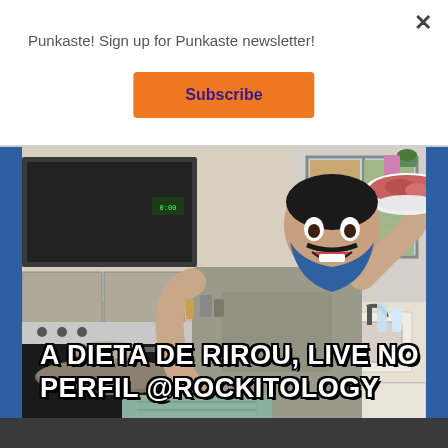Punkaste! Sign up for Punkaste newsletter!
Subscribe
[Figure (photo): A bearded man with a blue-dyed beard holding a bowl of raw ground meat in a kitchen, with pans on a stove, a microwave, and a kitchen sink visible. Text overlay reads: A DIETA DE RIROU, LIVE NO PERFIL @ROCKITOLOGY]
A DIETA DE RIROU, LIVE NO PERFIL @ROCKITOLOGY